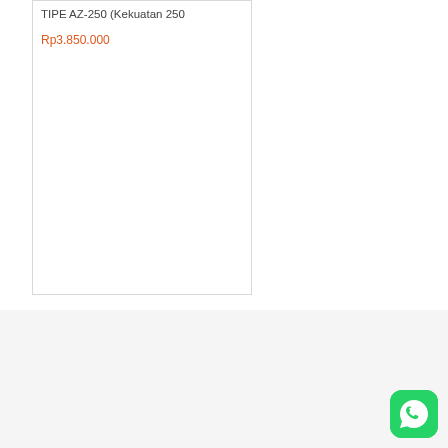TIPE AZ-250 (Kekuatan 250
Rp3.850.000